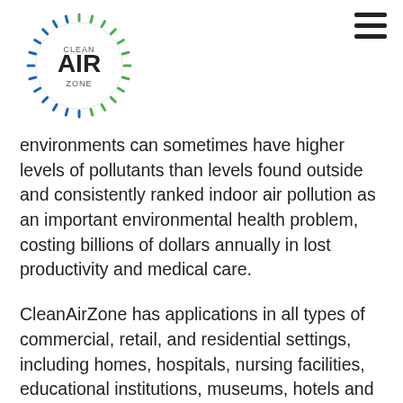[Figure (logo): Clean Air Zone circular logo with dashed ring border and text CLEAN AIR ZONE]
environments can sometimes have higher levels of pollutants than levels found outside and consistently ranked indoor air pollution as an important environmental health problem, costing billions of dollars annually in lost productivity and medical care.
CleanAirZone has applications in all types of commercial, retail, and residential settings, including homes, hospitals, nursing facilities, educational institutions, museums, hotels and businesses ranging from print shops and supermarkets to nail salons and fitness centers, greenhouses and controlled environment agriculture.